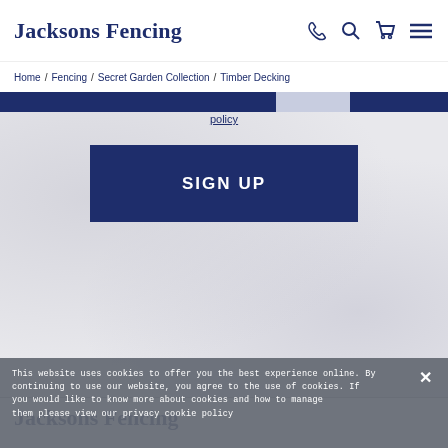Jacksons Fencing
Home / Fencing / Secret Garden Collection / Timber Decking
policy
SIGN UP
Jacksons Fencing
This website uses cookies to offer you the best experience online. By continuing to use our website, you agree to the use of cookies. If you would like to know more about cookies and how to manage them please view our privacy cookie policy